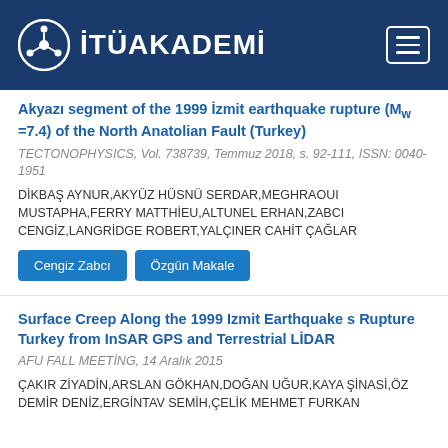İTÜAKADEMİ
Akyazı segment of the 1999 İzmit earthquake rupture (M w =7.4) of the North Anatolian Fault (Turkey)
TECTONOPHYSICS, Vol. 738739, Temmuz 2018, s. 92-111, ISSN: 0040-1951
DİKBAŞ AYNUR,AKYÜZ HÜSNÜ SERDAR,MEGHRAOUI MUSTAPHA,FERRY MATTHİEU,ALTUNEL ERHAN,ZABCI CENGİZ,LANGRİDGE ROBERT,YALÇINER CAHİT ÇAĞLAR
Cengiz Zabcı
Özgün Makale
Surface Creep Along the 1999 Izmit Earthquake s Rupture Turkey from InSAR GPS and Terrestrial LİDAR
AFU FALL MEETİNG, 14 Aralık 2015
ÇAKIR ZİYADİN,ARSLAN GÖKHAN,DOĞAN UĞUR,KAYA ŞİNASİ,ÖZ DEMİR DENİZ,ERGİNTAV SEMİH,ÇELİK MEHMET FURKAN